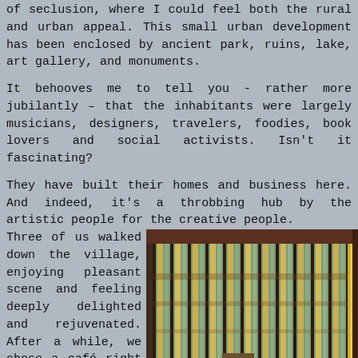of seclusion, where I could feel both the rural and urban appeal. This small urban development has been enclosed by ancient park, ruins, lake, art gallery, and monuments.
It behooves me to tell you - rather more jubilantly – that the inhabitants were largely musicians, designers, travelers, foodies, book lovers and social activists. Isn't it fascinating?
They have built their homes and business here. And indeed, it's a throbbing hub by the artistic people for the creative people.
Three of us walked down the village, enjoying pleasant scene and feeling deeply delighted and rejuvenated. After a while, we chose a café right in the middle of
[Figure (photo): Interior photo showing vertical bamboo or reed-like strips/columns with golden tones, dark wooden framing, possibly a decorative wall or architectural feature of a café or restaurant interior.]